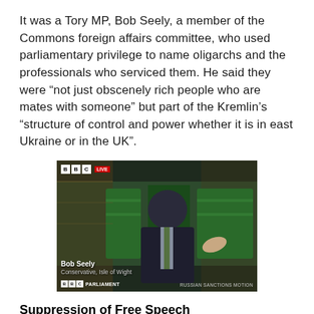It was a Tory MP, Bob Seely, a member of the Commons foreign affairs committee, who used parliamentary privilege to name oligarchs and the professionals who serviced them. He said they were “not just obscenely rich people who are mates with someone” but part of the Kremlin’s “structure of control and power whether it is in east Ukraine or in the UK”.
[Figure (photo): BBC Parliament live broadcast screenshot showing Bob Seely MP speaking in the House of Commons chamber with green benches visible. Lower-third caption reads: 'Bob Seely / Conservative, Isle of Wight' with BBC Parliament logo on bottom left and 'RUSSIAN SANCTIONS MOTION' on bottom right.]
Suppression of Free Speech